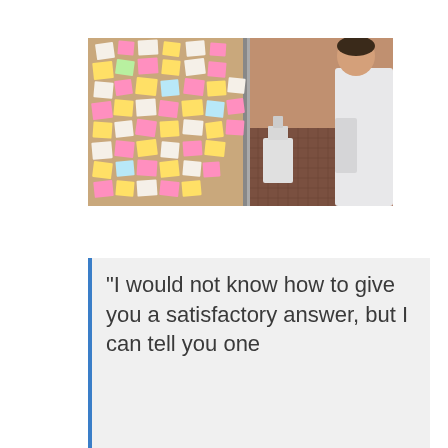[Figure (photo): A classroom or workshop scene: left half shows a corkboard covered with many colorful sticky notes (pink, yellow, white, blue); right half shows a young man in a white shirt standing near a podium or equipment in a room with a patterned wall.]
“I would not know how to give you a satisfactory answer, but I can tell you one